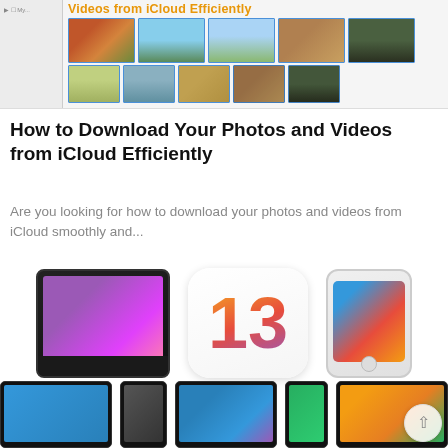[Figure (screenshot): Screenshot of a webpage showing photo thumbnails from iCloud with title overlay 'Videos from iCloud Efficiently' in orange/yellow bold text, and a sidebar with file tree]
How to Download Your Photos and Videos from iCloud Efficiently
Are you looking for how to download your photos and videos from iCloud smoothly and...
[Figure (screenshot): Collage of Apple devices: iPad with keyboard showing purple screen, iOS 13 logo icon with colorful number 13, iPhone showing app grid; bottom row shows multiple iPads and iPhones with various screens and a scroll-to-top button]